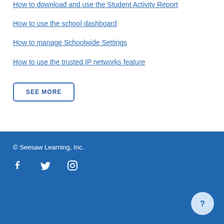How to download and use the Student Activity Report
How to use the school dashboard
How to manage Schoolwide Settings
How to use the trusted IP networks feature
SEE MORE
© Seesaw Learning, Inc.